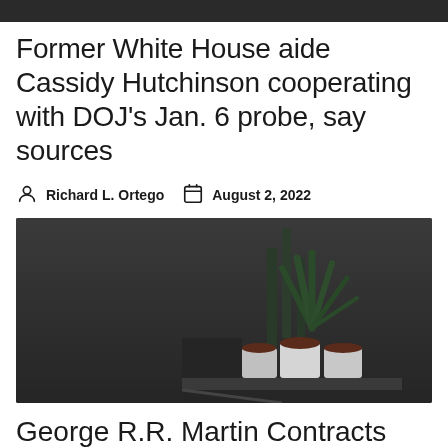[Figure (photo): Top portion of a photo, dark background, partially cut off at the top of the page]
Former White House aide Cassidy Hutchinson cooperating with DOJ's Jan. 6 probe, say sources
Richard L. Ortego   August 2, 2022
[Figure (photo): Dark photo showing potted plants including what appears to be an aloe or agave plant and other succulents in white pots on a surface]
George R.R. Martin Contracts